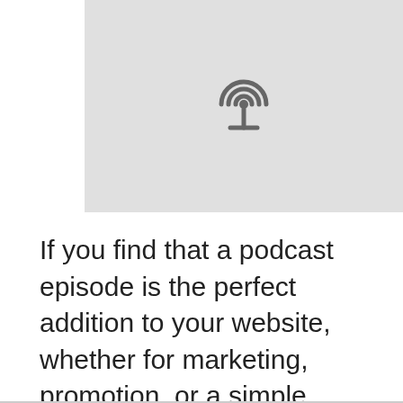[Figure (illustration): Apple Podcasts icon on a light gray background — circular radio wave symbol with a dot at the bottom center, rendered in dark gray]
If you find that a podcast episode is the perfect addition to your website, whether for marketing, promotion, or a simple supplement to your own content, Apple Podcasts gives you ways to grab that code and embed it on your site.
Are you going to give this a try? Which podcast do you plan to embed and what type of site are you using it on? Let us know! And remember to catch our own podcast show Let's Talk iOS!